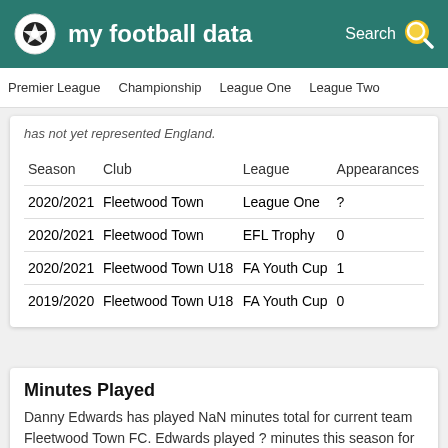my football data
Premier League  Championship  League One  League Two
has not yet represented England.
| Season | Club | League | Appearances |
| --- | --- | --- | --- |
| 2020/2021 | Fleetwood Town | League One | ? |
| 2020/2021 | Fleetwood Town | EFL Trophy | 0 |
| 2020/2021 | Fleetwood Town U18 | FA Youth Cup | 1 |
| 2019/2020 | Fleetwood Town U18 | FA Youth Cup | 0 |
Minutes Played
Danny Edwards has played NaN minutes total for current team Fleetwood Town FC. Edwards played ? minutes this season for Fleetwood Town FC in the League One.